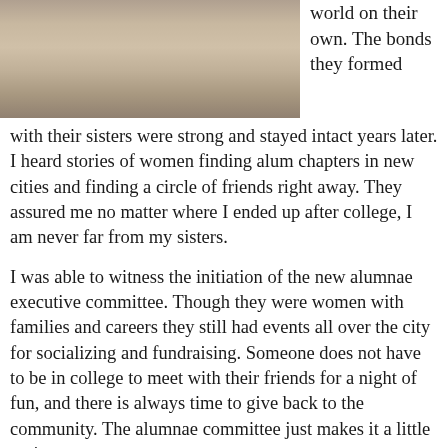[Figure (photo): Group photo of women posing together, cropped to show from waist/hips down, wearing colorful dresses and casual clothing, standing on a tiled floor.]
world on their own. The bonds they formed with their sisters were strong and stayed intact years later. I heard stories of women finding alum chapters in new cities and finding a circle of friends right away. They assured me no matter where I ended up after college, I am never far from my sisters.
I was able to witness the initiation of the new alumnae executive committee. Though they were women with families and careers they still had events all over the city for socializing and fundraising. Someone does not have to be in college to meet with their friends for a night of fun, and there is always time to give back to the community. The alumnae committee just makes it a little easier.
[Figure (photo): Partial photo at bottom of page, dark image showing flowers and dim lighting, partially cut off.]
Near the end of the event